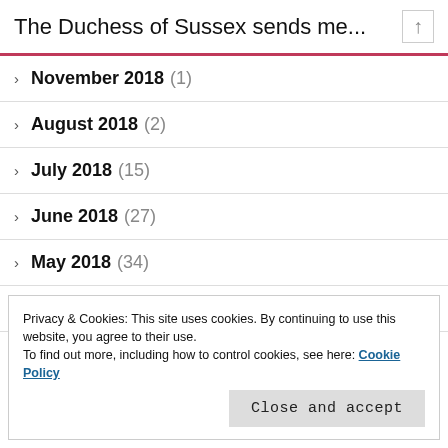The Duchess of Sussex sends me...
November 2018 (1)
August 2018 (2)
July 2018 (15)
June 2018 (27)
May 2018 (34)
April 2018 (69)
March 2018 (67)
Privacy & Cookies: This site uses cookies. By continuing to use this website, you agree to their use.
To find out more, including how to control cookies, see here: Cookie Policy